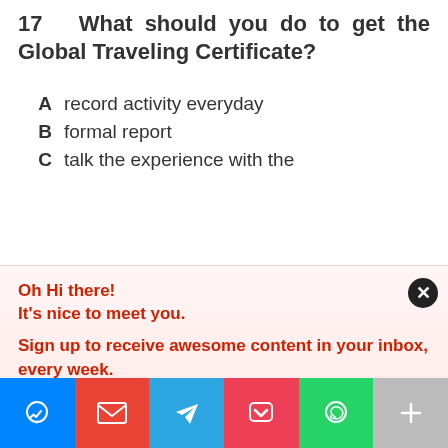17   What should you do to get the Global Traveling Certificate?
A   record activity everyday
B   formal report
C   talk the experience with the
Oh Hi there!
It's nice to meet you.

Sign up to receive awesome content in your inbox, every week.
[Figure (infographic): Social share bar with icons: Messenger (blue), Gmail (red), Telegram (light blue), Pocket (pink-red), WhatsApp (green), More/Plus (gray)]